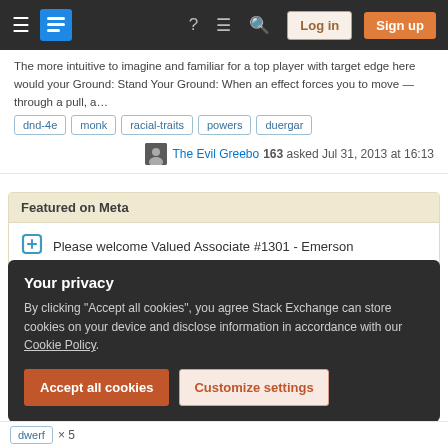Stack Exchange navigation bar with Log in and Sign up buttons
The more intuitive to imagine and familiar for a top player with target edge here would your Ground: Stand Your Ground: When an effect forces you to move — through a pull, a…
dnd-4e
monk
racial-traits
powers
duergar
The Evil Greebo 163 asked Jul 31, 2013 at 16:13
Featured on Meta
Please welcome Valued Associate #1301 - Emerson
Your privacy
By clicking "Accept all cookies", you agree Stack Exchange can store cookies on your device and disclose information in accordance with our Cookie Policy.
Accept all cookies
Customize settings
dwerf